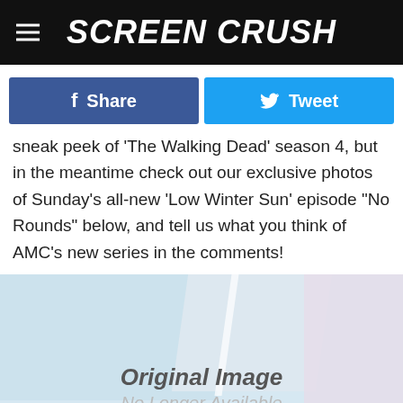Screen Crush
Share  Tweet
sneak peek of 'The Walking Dead' season 4, but in the meantime check out our exclusive photos of Sunday's all-new 'Low Winter Sun' episode "No Rounds" below, and tell us what you think of AMC's new series in the comments!
[Figure (photo): Placeholder image area showing 'Original Image No Longer Available' overlaid on a light blue abstract background]